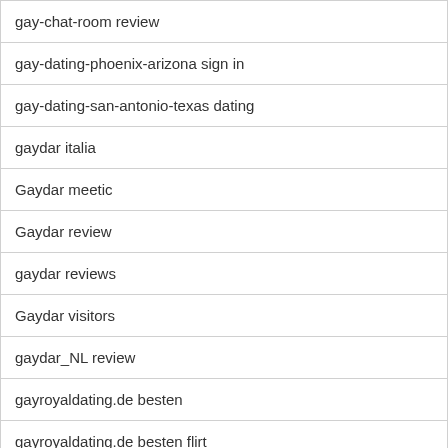| gay-chat-room review |
| gay-dating-phoenix-arizona sign in |
| gay-dating-san-antonio-texas dating |
| gaydar italia |
| Gaydar meetic |
| Gaydar review |
| gaydar reviews |
| Gaydar visitors |
| gaydar_NL review |
| gayroyaldating.de besten |
| gayroyaldating.de besten flirt |